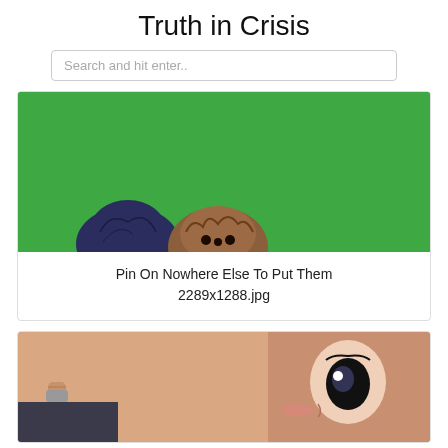Truth in Crisis
Search and hit enter..
[Figure (screenshot): Card with green background image showing anime characters peeking from below, with caption text 'Pin On Nowhere Else To Put Them 2289x1288.jpg']
Pin On Nowhere Else To Put Them
2289x1288.jpg
[Figure (screenshot): Second card showing a close-up anime illustration of a character with large eyes and a ring on their finger, pink/peach tones]